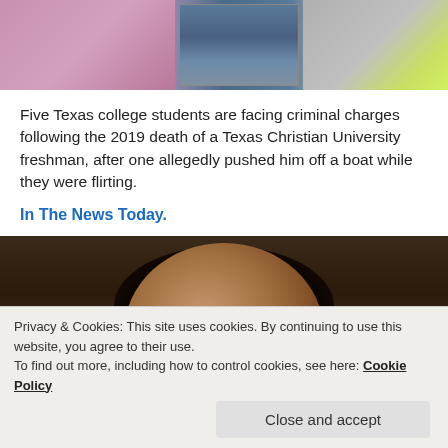[Figure (photo): Partial top image showing three sections: left section with person in pink floral clothing, center section with a boat on water, right section with person in neon yellow clothing]
Five Texas college students are facing criminal charges following the 2019 death of a Texas Christian University freshman, after one allegedly pushed him off a boat while they were flirting.
In The News Today.
[Figure (photo): Photo of a Black woman with large natural hair looking through glass, appearing to be in a courtroom or holding area]
Privacy & Cookies: This site uses cookies. By continuing to use this website, you agree to their use.
To find out more, including how to control cookies, see here: Cookie Policy
Close and accept